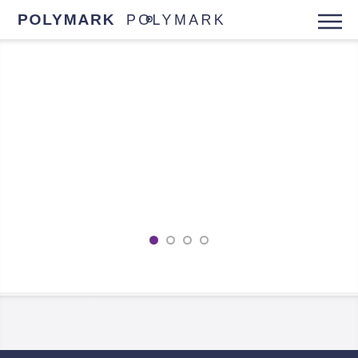POLYMARK
[Figure (other): Slideshow carousel area with four pagination dots, first dot active (purple), rest inactive (gray)]
[Figure (other): Upward pointing chevron arrow icon on a light gray background section]